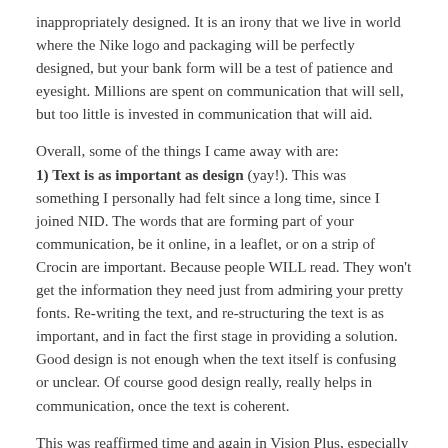inappropriately designed. It is an irony that we live in world where the Nike logo and packaging will be perfectly designed, but your bank form will be a test of patience and eyesight. Millions are spent on communication that will sell, but too little is invested in communication that will aid.
Overall, some of the things I came away with are: 1) Text is as important as design (yay!). This was something I personally had felt since a long time, since I joined NID. The words that are forming part of your communication, be it online, in a leaflet, or on a strip of Crocin are important. Because people WILL read. They won't get the information they need just from admiring your pretty fonts. Re-writing the text, and re-structuring the text is as important, and in fact the first stage in providing a solution. Good design is not enough when the text itself is confusing or unclear. Of course good design really, really helps in communication, once the text is coherent.
This was reaffirmed time and again in Vision Plus, especially by certain presenters such as Karel van der Waarde and Alex Tyers. Karel can der Waarde showed us how medicine packaging is mostly unreadable, and inaccessible even in Europe (surprise surprise!). Often pamphlets or some kind of literature is handed